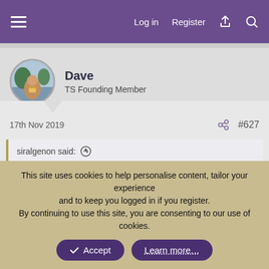Log in  Register
[Figure (photo): User avatar photo of Dave, circular crop showing a person holding a drink outdoors]
Dave
TS Founding Member
17th Nov 2019   #627
siralgenon said:
So you're saying this:
This site uses cookies to help personalise content, tailor your experience and to keep you logged in if you register.
By continuing to use this site, you are consenting to our use of cookies.